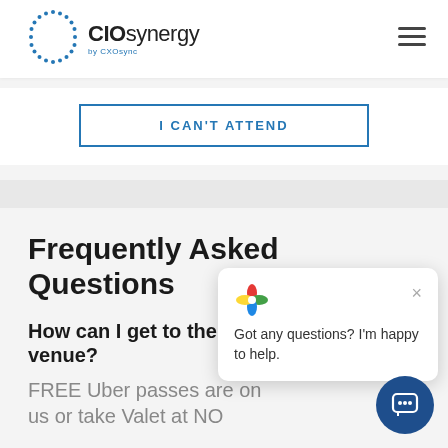CIOsynergy by CXOsync
I CAN'T ATTEND
Frequently Asked Questions
How can I get to the venue?
FREE Uber passes are on us or take Valet at NO
[Figure (screenshot): Chat popup widget with colorful flower icon, close button, and text 'Got any questions? I’m happy to help.']